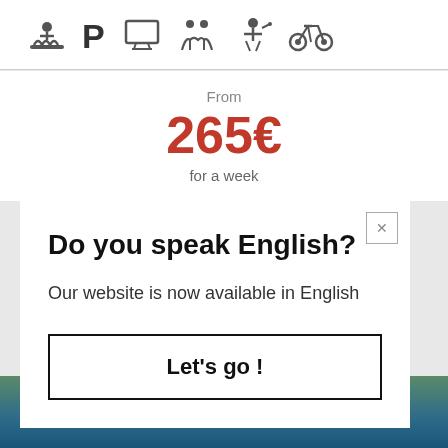[Figure (infographic): Row of amenity icons: pool/water, parking P, monitor/screen, group activity, golf/activity, bicycle]
From
265€
for a week
Do you speak English?
Our website is now available in English
Let's go !
[Figure (photo): Background photo of outdoor scene visible at bottom of page]